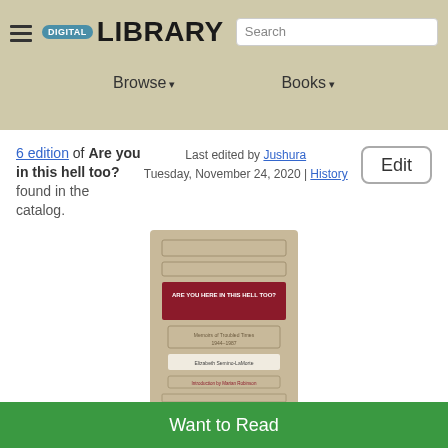DIGITAL LIBRARY — Search — Browse — Books
6 edition of Are you in this hell too? found in the catalog.
Last edited by Jushura
Tuesday, November 24, 2020 | History
[Figure (photo): Book cover of 'Are You Here in This Hell Too?' with a dark red/crimson title band and tan/beige background]
Want to Read